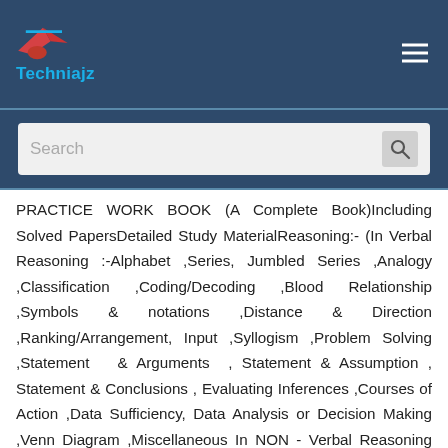Techniajz
PRACTICE WORK BOOK (A Complete Book)Including Solved PapersDetailed Study MaterialReasoning:- (In Verbal Reasoning :-Alphabet ,Series, Jumbled Series ,Analogy ,Classification ,Coding/Decoding ,Blood Relationship ,Symbols & notations ,Distance & Direction ,Ranking/Arrangement, Input ,Syllogism ,Problem Solving ,Statement & Arguments , Statement & Assumption , Statement & Conclusions , Evaluating Inferences ,Courses of Action ,Data Sufficiency, Data Analysis or Decision Making ,Venn Diagram ,Miscellaneous In NON - Verbal Reasoning Series, Analogy, Classification, Missing Number, (Figure Family)